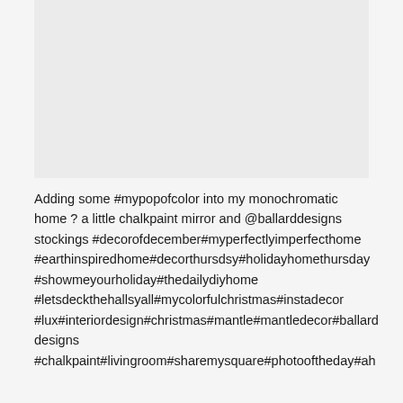[Figure (photo): Blank/placeholder image area at top of page]
Adding some #mypopofcolor into my monochromatic home ? a little chalkpaint mirror and @ballarddesigns stockings #decorofdecember#myperfectlyimperfecthome #earthinspiredhome#decorthursdsy#holidayhomethursday #showmeyourholiday#thedailydiyhome #letsdeckthehallsyall#mycolorfulchristmas#instadecor #lux#interiordesign#christmas#mantle#mantledecor#ballard designs #chalkpaint#livingroom#sharemysquare#photooftheday#ah